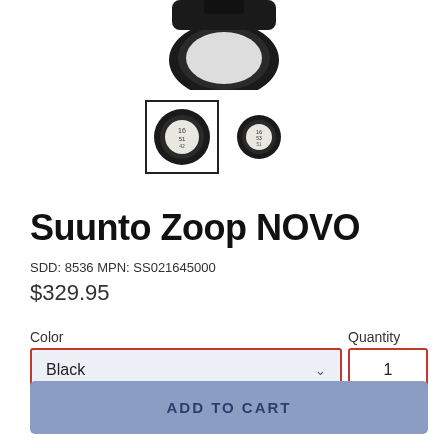[Figure (photo): Product thumbnail images of Suunto Zoop NOVO dive computer watch. Two small round device images shown: first one with black border box (selected), second without border.]
Suunto Zoop NOVO
SDD: 8536 MPN: SS021645000
$329.95
Color
Black
Quantity
1
ADD TO CART